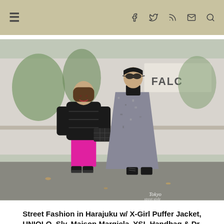≡ (navigation icons: facebook, twitter, rss, email, search)
[Figure (photo): Two people standing on a Tokyo street. Left person wears a black puffer jacket, pink wide-leg pants, and black platform shoes, holding a quilted black bag. Right person wears a gray mottled poncho-style long coat over black clothes and black boots. Urban Harajuku background with trees and a FALC sign. Watermark: Tokyo street style.]
Street Fashion in Harajuku w/ X-Girl Puffer Jacket, UNIQLO, Sly, Maison Margiela, YSL Handbag & Dr. Martens Boots
Posted on December 8, 2019 in Tokyo Street Snaps
While out and about on the streets of Tokyo, we came across Rino and Ren with their trendy street snaps. At the left, 23-year-old Ri...